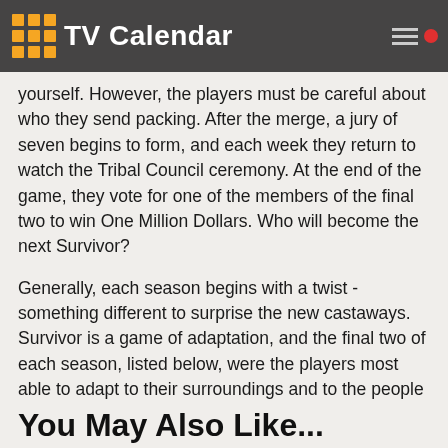TV Calendar
yourself. However, the players must be careful about who they send packing. After the merge, a jury of seven begins to form, and each week they return to watch the Tribal Council ceremony. At the end of the game, they vote for one of the members of the final two to win One Million Dollars. Who will become the next Survivor?
Generally, each season begins with a twist - something different to surprise the new castaways. Survivor is a game of adaptation, and the final two of each season, listed below, were the players most able to adapt to their surroundings and to the people they are playing with. Survivor focuses on the people, and the social commentary that surrounds them. How can these players Outwit, Outplay, and Outlast is the question that the game revolves around.
You May Also Like...